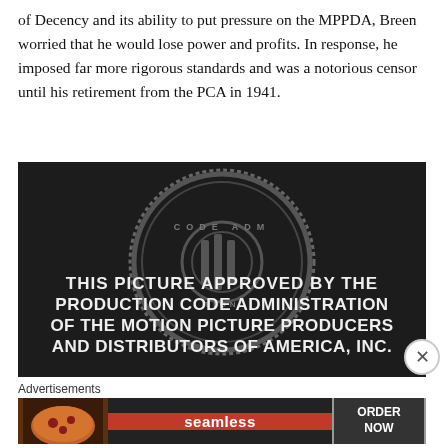of Decency and its ability to put pressure on the MPPDA, Breen worried that he would lose power and profits. In response, he imposed far more rigorous standards and was a notorious censor until his retirement from the PCA in 1941.
[Figure (photo): Black and white image of the Production Code Administration seal with text reading: THIS PICTURE APPROVED BY THE PRODUCTION CODE ADMINISTRATION OF THE MOTION PICTURE PRODUCERS AND DISTRIBUTORS OF AMERICA, INC.]
Advertisements
[Figure (screenshot): Seamless food delivery advertisement showing pizza image on left, red Seamless logo in center, and ORDER NOW button on right against dark background.]